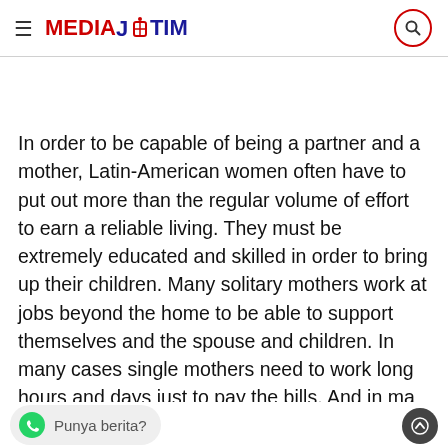MEDIA JATIM
In order to be capable of being a partner and a mother, Latin-American women often have to put out more than the regular volume of effort to earn a reliable living. They must be extremely educated and skilled in order to bring up their children. Many solitary mothers work at jobs beyond the home to be able to support themselves and the spouse and children. In many cases single mothers need to work long hours and days just to pay the bills. And in many rent households will be the norm.